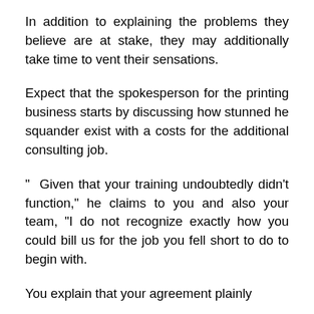In addition to explaining the problems they believe are at stake, they may additionally take time to vent their sensations.
Expect that the spokesperson for the printing business starts by discussing how stunned he squander exist with a costs for the additional consulting job.
“ Given that your training undoubtedly didn’t function,” he claims to you and also your team, “I do not recognize exactly how you could bill us for the job you fell short to do to begin with.
You explain that your agreement plainly